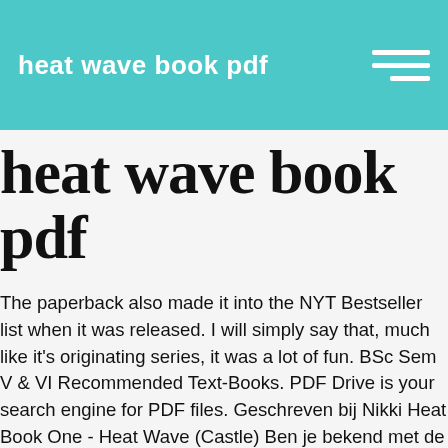heat wave book pdf
heat wave book pdf
The paperback also made it into the NYT Bestseller list when it was released. I will simply say that, much like it's originating series, it was a lot of fun. BSc Sem V & VI Recommended Text-Books. PDF Drive is your search engine for PDF files. Geschreven bij Nikki Heat Book One - Heat Wave (Castle) Ben je bekend met de serie Castle dan zul je genieten van het boek Heat Wave. April 16, 2017 / 0 Comments / by Bangla Book Tags: Batighar Prokashon, Batighar Prokashoni, Heat Wave, Richard Castle,  .  .  .   comments or use smm accounts. ( Review will shown on site after approval). A heat